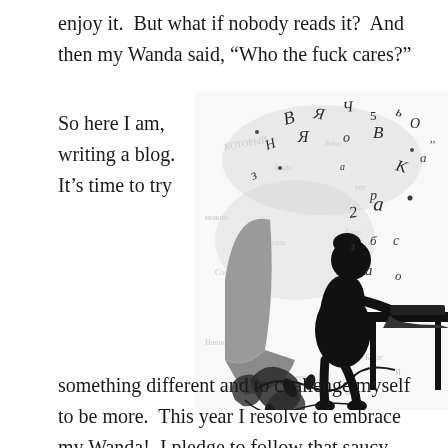enjoy it.  But what if nobody reads it?  And then my Wanda said, “Who the fuck cares?”
So here I am, writing a blog.  It’s time to try
[Figure (illustration): Black and white illustration of a woman silhouette sitting at a desk typing on a laptop, with Cyrillic/decorative letters floating above and swirling floral/text background]
something different and to challenge myself to be more.  This year I resolve to embrace my Wanda!  I pledge to follow that saucy bitch wherever she